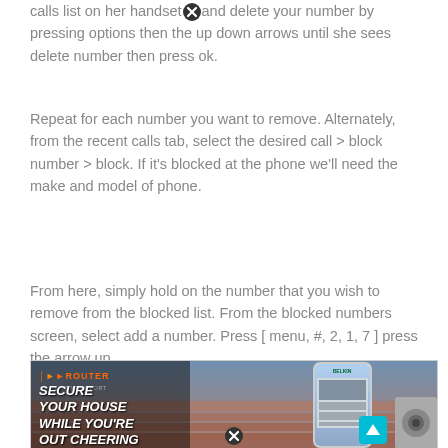calls list on her handset and delete your number by pressing options then the up down arrows until she sees delete number then press ok.
Repeat for each number you want to remove. Alternately, from the recent calls tab, select the desired call > block number > block. If it's blocked at the phone we'll need the make and model of phone.
From here, simply hold on the number that you wish to remove from the blocked list. From the blocked numbers screen, select add a number. Press [ menu, #, 2, 1, 7 ] press the arrow up.
[Figure (screenshot): Advertisement banner for Router Login Support showing 'SECURE YOUR HOUSE WHILE YOU'RE OUT CHEERING' with a phone displaying Belkin smart home app, a camera, and a teal upload/scroll button.]